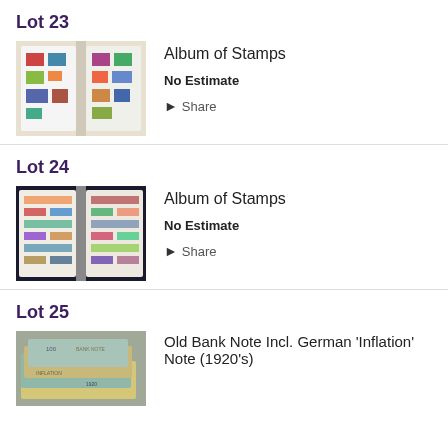Lot 23
[Figure (photo): Open stamp album showing pages filled with colorful postage stamps]
Album of Stamps
No Estimate
Share
Lot 24
[Figure (photo): Open stamp album showing two pages with colorful stamps arranged in rows]
Album of Stamps
No Estimate
Share
Lot 25
[Figure (photo): Stack of old bank notes including German Inflation notes from the 1920s]
Old Bank Note Incl. German 'Inflation' Note (1920's)